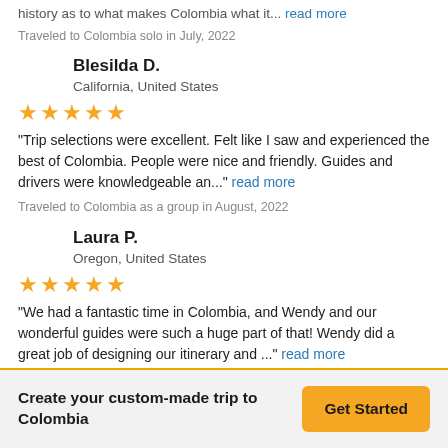history as to what makes Colombia what it... read more
Traveled to Colombia solo in July, 2022
Blesilda D.
California, United States
[Figure (other): Five gold star rating]
"Trip selections were excellent. Felt like I saw and experienced the best of Colombia. People were nice and friendly. Guides and drivers were knowledgeable an..." read more
Traveled to Colombia as a group in August, 2022
Laura P.
Oregon, United States
[Figure (other): Five gold star rating]
"We had a fantastic time in Colombia, and Wendy and our wonderful guides were such a huge part of that! Wendy did a great job of designing our itinerary and ..." read more
Create your custom-made trip to Colombia  Get Started